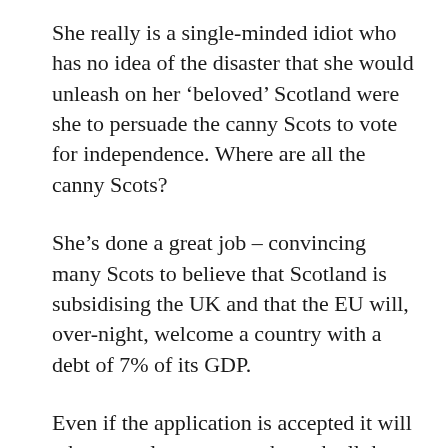She really is a single-minded idiot who has no idea of the disaster that she would unleash on her ‘beloved’ Scotland were she to persuade the canny Scots to vote for independence. Where are all the canny Scots?
She’s done a great job – convincing many Scots to believe that Scotland is subsidising the UK and that the EU will, over-night, welcome a country with a debt of 7% of its GDP.
Even if the application is accepted it will take several years to go through all the various procedures – and how does Scotland survive in the meantime?